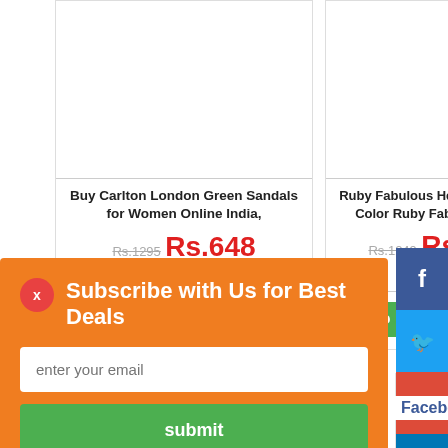[Figure (screenshot): Product card for Buy Carlton London Green Sandals for Women Online India with price Rs.648 (was Rs.1295), 2.5 star rating, date 09-05-2015, View Details and Buy Now buttons]
[Figure (screenshot): Product card for Ruby Fabulous Heels - Buy Gold Color Ruby Fabulous Heels with price Rs.499 (was Rs.1249), date 09-05-2015, View Details button, partially visible]
[Figure (screenshot): Promotional banner partially visible: WOMEN BUY 2 G...]
[Figure (screenshot): Subscribe popup overlay with orange background, X close button, title Subscribe with Us for Best Deals, email input, submit button]
[Figure (screenshot): Social share sidebar with Facebook, Twitter, Google+, LinkedIn icons]
Facebook